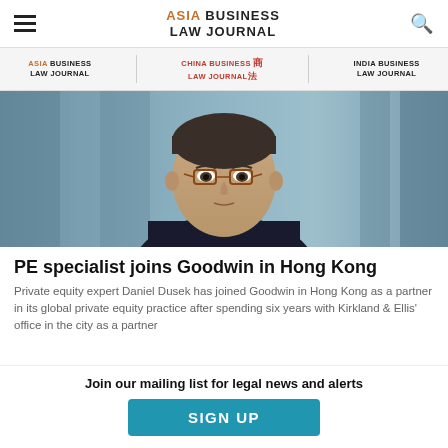ASIA BUSINESS LAW JOURNAL
[Figure (logo): Asia Business Law Journal logo with hamburger menu and search icon]
[Figure (logo): Navigation bar with Asia Business Law Journal, China Business Law Journal, and India Business Law Journal logos]
[Figure (photo): Professional headshot of Daniel Dusek, a man wearing glasses and a dark suit, with blurred office background]
PE specialist joins Goodwin in Hong Kong
Private equity expert Daniel Dusek has joined Goodwin in Hong Kong as a partner in its global private equity practice after spending six years with Kirkland & Ellis' office in the city as a partner
Join our mailing list for legal news and alerts
SIGN UP